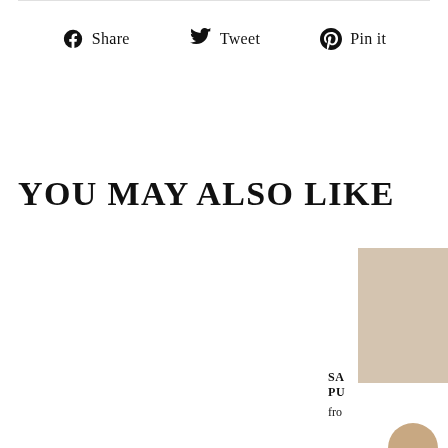Share  Tweet  Pin it
YOU MAY ALSO LIKE
SA
PU
fro